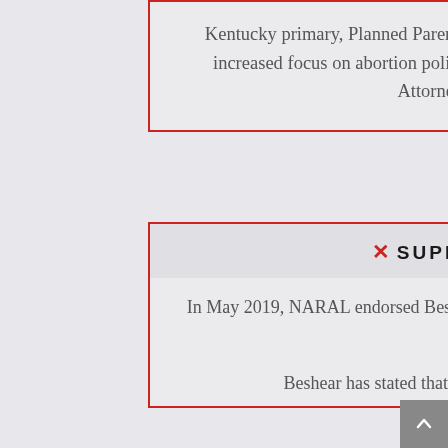Kentucky primary, Planned Parenthood spokeswoman Tamarra Wieder said, “With an increased focus on abortion policy in state legislatures, we need elected leaders like Attorney General Andy Beshear.”
✕ SUPPORTED BY NARAL
In May 2019, NARAL endorsed Beshear, claiming that “Andy represents our strongest bet to defeat Bevin”
Beshear has stated that he “deeply appreciated NARAL’s trust and